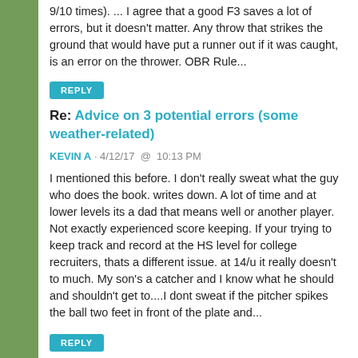9/10 times). ... I agree that a good F3 saves a lot of errors, but it doesn't matter. Any throw that strikes the ground that would have put a runner out if it was caught, is an error on the thrower. OBR Rule...
REPLY
Re: Advice on 3 potential errors (some weather-related)
KEVIN A · 4/12/17  @  10:13 PM
I mentioned this before. I don't really sweat what the guy who does the book. writes down. A lot of time and at lower levels its a dad that means well or another player. Not exactly experienced score keeping. If your trying to keep track and record at the HS level for college recruiters, thats a different issue. at 14/u it really doesn't to much. My son's a catcher and I know what he should and shouldn't get to....I dont sweat if the pitcher spikes the ball two feet in front of the plate and...
REPLY